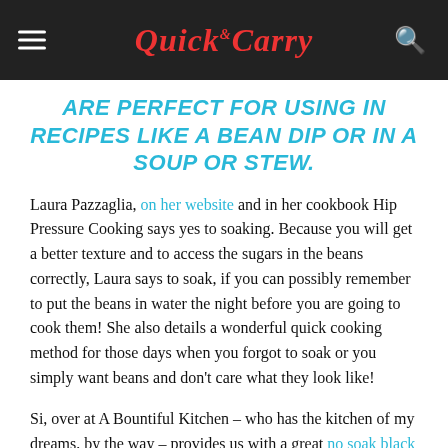Quick & Carry
ARE PERFECT FOR USING IN RECIPES LIKE A BEAN DIP OR IN A SOUP OR STEW.
Laura Pazzaglia, on her website and in her cookbook Hip Pressure Cooking says yes to soaking. Because you will get a better texture and to access the sugars in the beans correctly, Laura says to soak, if you can possibly remember to put the beans in water the night before you are going to cook them! She also details a wonderful quick cooking method for those days when you forgot to soak or you simply want beans and don't care what they look like!
Si, over at A Bountiful Kitchen – who has the kitchen of my dreams, by the way – provides us with a great no soak black bean recipe. I will agree with her that black beans are one of